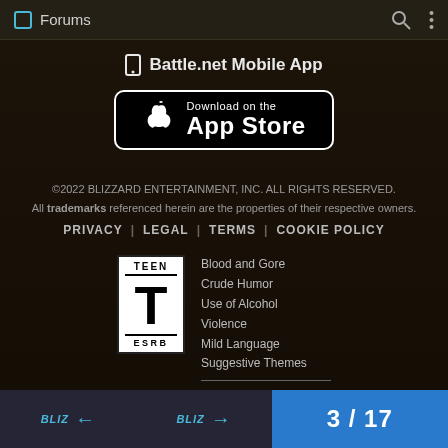Forums
Battle.net Mobile App
[Figure (screenshot): App Store download button — black rounded rectangle with Apple logo and text 'Download on the App Store']
©2022 BLIZZARD ENTERTAINMENT, INC. ALL RIGHTS RESERVED. All trademarks referenced herein are the properties of their respective owners.
PRIVACY | LEGAL | TERMS | COOKIE POLICY
[Figure (logo): ESRB TEEN rating badge — white box with TEEN at top, large T in center, ESRB at bottom]
Blood and Gore
Crude Humor
Use of Alcohol
Violence
Mild Language
Suggestive Themes
Users Interact
In-Game Purchases
3 / 17